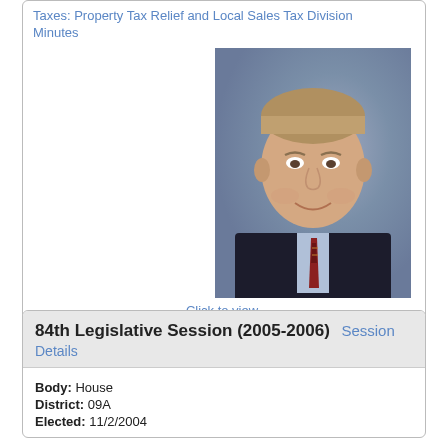Taxes: Property Tax Relief and Local Sales Tax Division Minutes
[Figure (photo): Portrait photo of a middle-aged man in a dark suit and striped tie, smiling, with a blurred blue/purple background.]
Click to view
84th Legislative Session (2005-2006) Session Details
Body: House
District: 09A
Elected: 11/2/2004